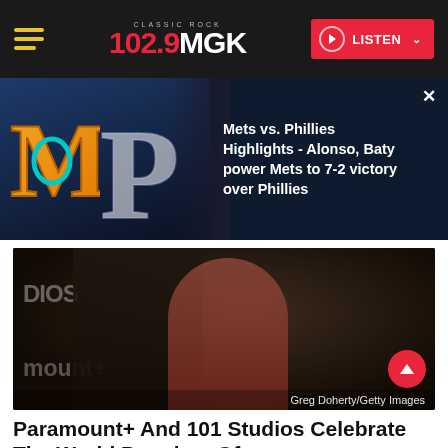102.9 MGK CLASSIC ROCK | LISTEN
[Figure (screenshot): Promo banner showing Mets vs Phillies baseball logos with text overlay]
Mets vs. Phillies Highlights - Alonso, Baty power Mets to 7-2 victory over Phillies
[Figure (photo): A man in a black suit and a woman in a pink/coral dress posing at a Paramount+ premiere red carpet event. Caption: Greg Doherty/Getty Images]
Paramount+ And 101 Studios Celebrate The World Premiere Of